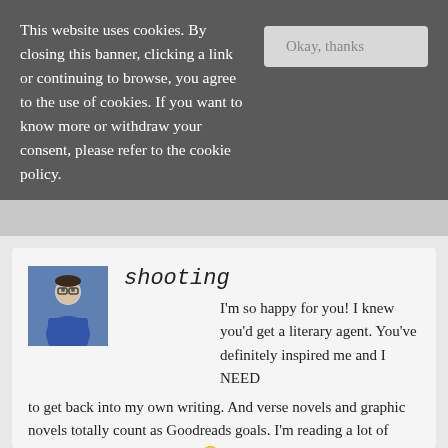This website uses cookies. By closing this banner, clicking a link or continuing to browse, you agree to the use of cookies. If you want to know more or withdraw your consent, please refer to the cookie policy.
Okay, thanks
shooting
I'm so happy for you! I knew you'd get a literary agent. You've definitely inspired me and I NEED to get back into my own writing. And verse novels and graphic novels totally count as Goodreads goals. I'm reading a lot of graphic novels this year too. 🙂
-Lauren
http://www.shootingstarsmag.net